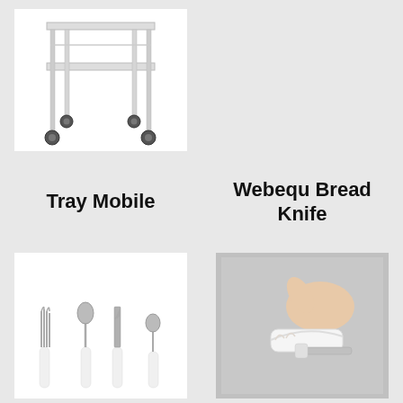[Figure (photo): White metal tray mobile/trolley with two shelves and four castor wheels on a white background]
[Figure (photo): Right column top — empty/no image visible (grey background)]
Tray Mobile
Webequ Bread Knife
[Figure (photo): A set of four stainless steel cutlery pieces (fork, large spoon, knife, small spoon) with white cylindrical handles]
[Figure (photo): A hand holding a white plastic bread knife/adaptive knife with a curved serrated blade]